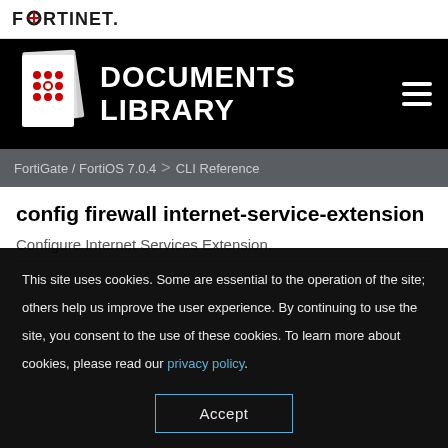FORTINET
[Figure (logo): Fortinet Documents Library header with icon showing stacked documents with red logo, white text DOCUMENTS LIBRARY, and hamburger menu icon on black background]
FortiGate / FortiOS 7.0.4  >  CLI Reference
config firewall internet-service-extension
Configure Internet Services Extension.
This site uses cookies. Some are essential to the operation of the site; others help us improve the user experience. By continuing to use the site, you consent to the use of these cookies. To learn more about cookies, please read our privacy policy.
Accept